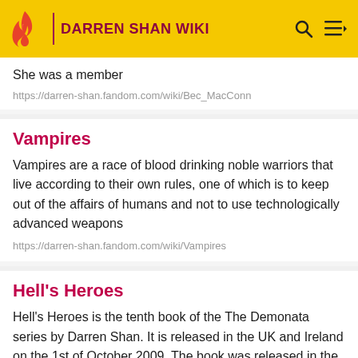DARREN SHAN WIKI
She was a member
https://darren-shan.fandom.com/wiki/Bec_MacConn
Vampires
Vampires are a race of blood drinking noble warriors that live according to their own rules, one of which is to keep out of the affairs of humans and not to use technologically advanced weapons
https://darren-shan.fandom.com/wiki/Vampires
Hell's Heroes
Hell's Heroes is the tenth book of the The Demonata series by Darren Shan. It is released in the UK and Ireland on the 1st of October 2009. The book was released in the
https://darren-shan.fandom.com/wiki/Hell's_Heroes